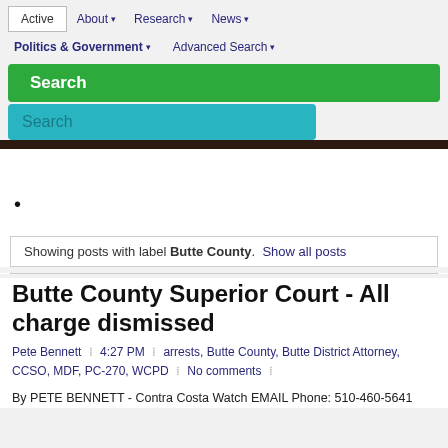Active | About ▾ | Research ▾ | News ▾ | Politics & Government ▾ | Advanced Search ▾
[Figure (screenshot): Green Search button and teal search input bar]
•
Showing posts with label Butte County. Show all posts
Butte County Superior Court - All charge dismissed
Pete Bennett | 4:27 PM | arrests, Butte County, Butte District Attorney, CCSO, MDF, PC-270, WCPD | No comments |
By PETE BENNETT - Contra Costa Watch EMAIL Phone: 510-460-5641